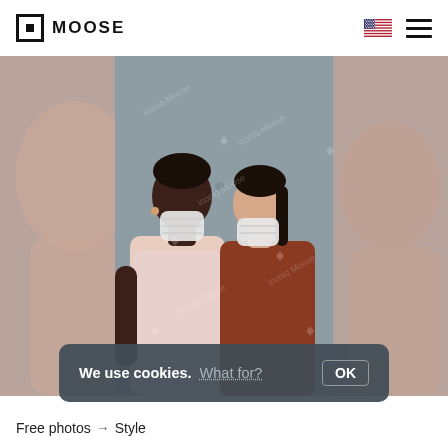MOOSE
[Figure (photo): Two people facing each other closely, both wearing white medical face masks. The man on the left is tall, dark-skinned, wearing a light pink t-shirt. The woman on the right has dark hair in a ponytail, wearing a rust/terracotta long-sleeve top. They are touching foreheads. Background is gray. The image has stock photo watermarks reading 'iconiq Moose'. There is a blurred/faded copy of the image on both sides as a background effect.]
We use cookies. What for? OK
Free photos → Style